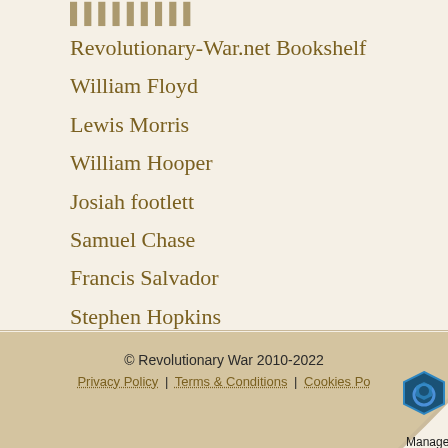Revolutionary-War.net Bookshelf
William Floyd
Lewis Morris
William Hooper
Josiah footlett
Samuel Chase
Francis Salvador
Stephen Hopkins
Royal Proclamation of 1763
© Revolutionary War 2010-2022
Privacy Policy | Terms & Conditions | Cookies Po